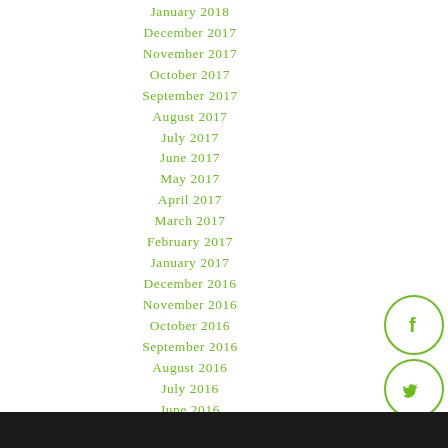January 2018
December 2017
November 2017
October 2017
September 2017
August 2017
July 2017
June 2017
May 2017
April 2017
March 2017
February 2017
January 2017
December 2016
November 2016
October 2016
September 2016
August 2016
July 2016
June 2016
[Figure (infographic): Five green circular social media icons stacked vertically on the right side: Facebook (f), Twitter (bird), Pinterest (P), Tumblr (t), StumbleUpon (Su)]